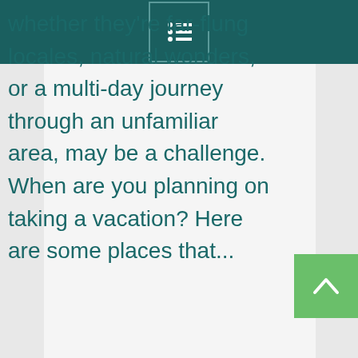[Figure (screenshot): Dark teal top navigation bar with a menu/list icon in a bordered box centered in the bar]
whether they're far-flung locales, natural wonders, or a multi-day journey through an unfamiliar area, may be a challenge. When are you planning on taking a vacation? Here are some places that...